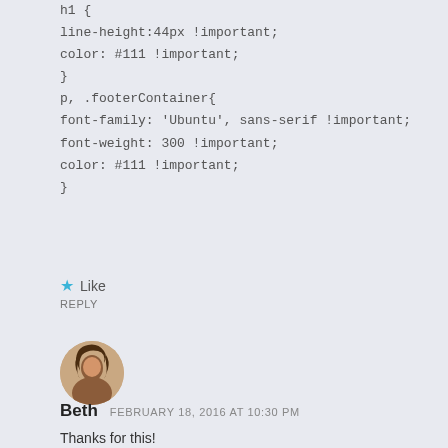h1 {
line-height:44px !important;
color: #111 !important;
}
p, .footerContainer{
font-family: 'Ubuntu', sans-serif !important;
font-weight: 300 !important;
color: #111 !important;
}
Like
REPLY
[Figure (photo): Round avatar photo of Beth, a woman with long dark hair]
Beth  FEBRUARY 18, 2016 AT 10:30 PM
Thanks for this!